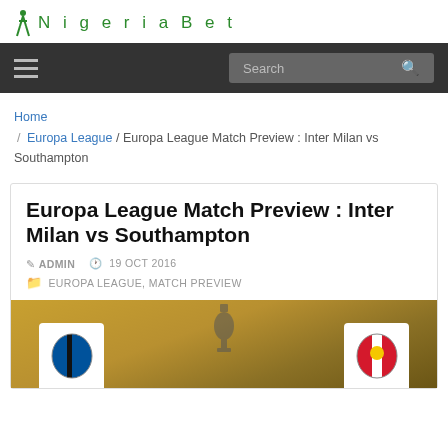NigeriaBet
Home / Europa League / Europa League Match Preview : Inter Milan vs Southampton
Europa League Match Preview : Inter Milan vs Southampton
ADMIN  19 OCT 2016
EUROPA LEAGUE, MATCH PREVIEW
[Figure (photo): Photo showing Europa League trophy and team badges for Inter Milan vs Southampton match]